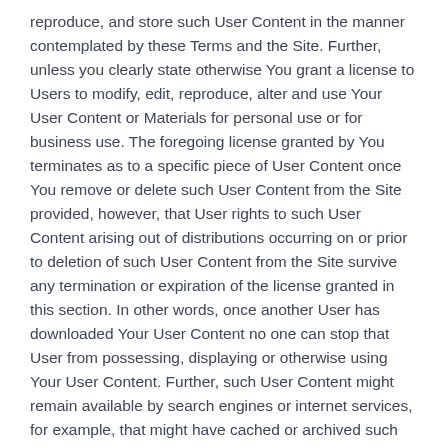reproduce, and store such User Content in the manner contemplated by these Terms and the Site. Further, unless you clearly state otherwise You grant a license to Users to modify, edit, reproduce, alter and use Your User Content or Materials for personal use or for business use. The foregoing license granted by You terminates as to a specific piece of User Content once You remove or delete such User Content from the Site provided, however, that User rights to such User Content arising out of distributions occurring on or prior to deletion of such User Content from the Site survive any termination or expiration of the license granted in this section. In other words, once another User has downloaded Your User Content no one can stop that User from possessing, displaying or otherwise using Your User Content. Further, such User Content might remain available by search engines or internet services, for example, that might have cached or archived such User Content.
3.4. User Content Representations And Warranties.
You are solely responsible for Your User Content and the